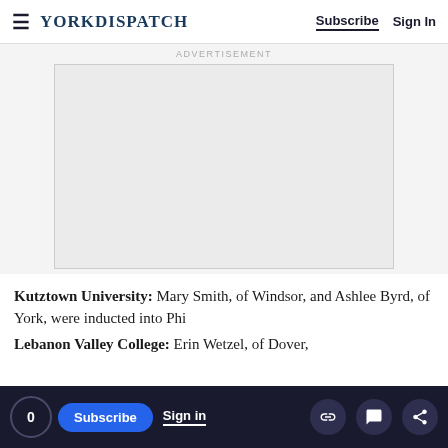YORK DISPATCH | Subscribe | Sign In
[Figure (other): Advertisement placeholder box with 'Advertisement' label above it]
Kutztown University: Mary Smith, of Windsor, and Ashlee Byrd, of York, were inducted into Phi
Lebanon Valley College: Erin Wetzel, of Dover,
0 | Subscribe | Sign in | [link icon] [comment icon] [share icon]